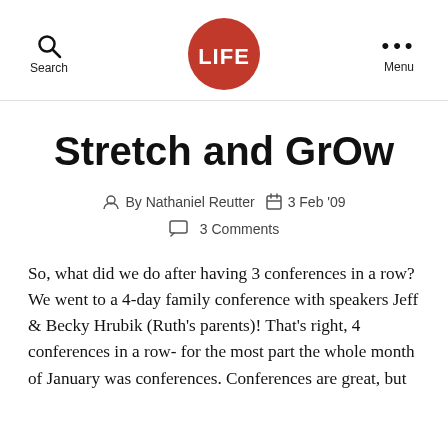Search | LIFE | Menu
Stretch and GrOw
By Nathaniel Reutter   3 Feb '09   3 Comments
So, what did we do after having 3 conferences in a row? We went to a 4-day family conference with speakers Jeff & Becky Hrubik (Ruth's parents)! That's right, 4 conferences in a row- for the most part the whole month of January was conferences. Conferences are great, but